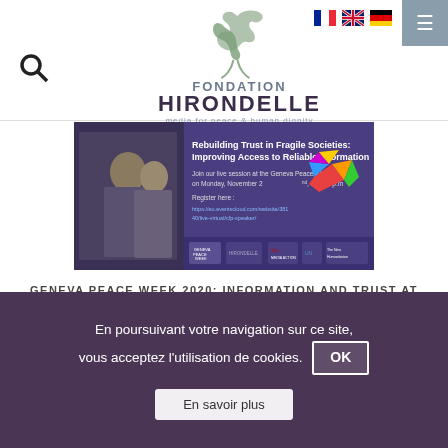[Figure (logo): Fondation Hirondelle logo with bird and text 'FONDATION HIRONDELLE media for peace & human dignity']
[Figure (screenshot): Event banner: 'Rebuilding Trust in Fragile Societies: Improving Access to Reliable Information' - Geneva Peace Week 2020, Monday November 2nd at 6:30 p.m. Register here with link. Partner logos at bottom.]
GENEVA PEACE WEEK 2020: INFORMATION AND TRUST AT THE HEART OF THE DISCUSSIONS
27. OKTOBER 2020 - OUR NEWS
En poursuivant votre navigation sur ce site, vous acceptez l'utilisation de cookies.
OK
En savoir plus